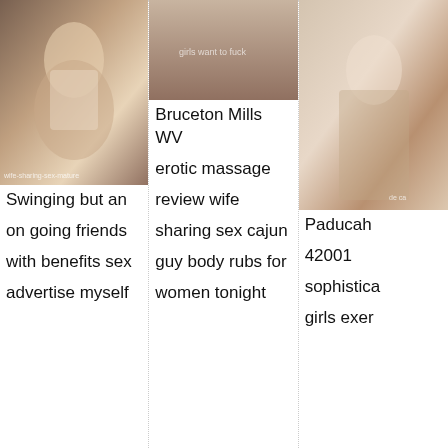[Figure (photo): Woman in white lingerie posing on a couch]
Swinging but an
on going friends
with benefits sex
advertise myself
[Figure (photo): Torso photo with watermark text 'girls want to fuck']
Bruceton Mills WV
erotic massage
review wife
sharing sex cajun
guy body rubs for
women tonight
[Figure (photo): Woman in black lingerie]
Paducah
42001
sophistica
girls exer